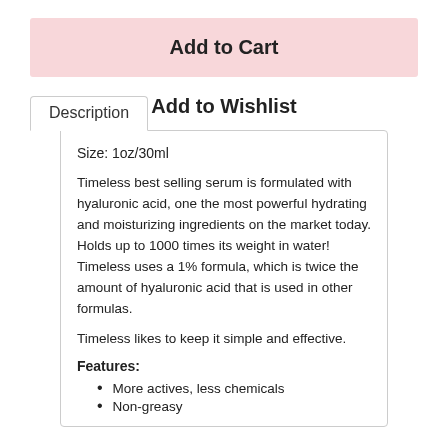Add to Cart
Add to Wishlist
Description
Size: 1oz/30ml
Timeless best selling serum is formulated with hyaluronic acid, one the most powerful hydrating and moisturizing ingredients on the market today. Holds up to 1000 times its weight in water! Timeless uses a 1% formula, which is twice the amount of hyaluronic acid that is used in other formulas.
Timeless likes to keep it simple and effective.
Features:
More actives, less chemicals
Non-greasy